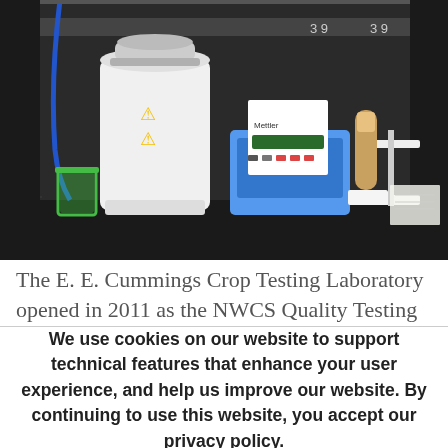[Figure (photo): Laboratory equipment including a white analytical instrument with hazard warning symbols, a blue/white device with digital display, and a test tube in a stand, on a dark background.]
The E. E. Cummings Crop Testing Laboratory opened in 2011 as the NWCS Quality Testing
We use cookies on our website to support technical features that enhance your user experience, and help us improve our website. By continuing to use this website, you accept our privacy policy.